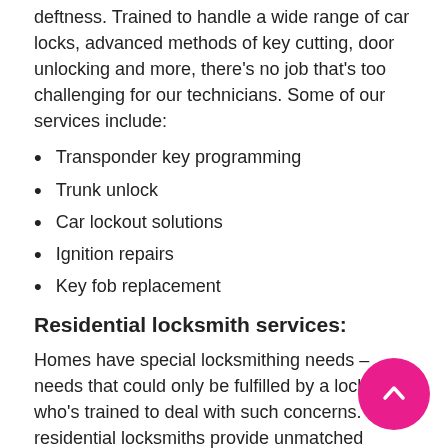deftness. Trained to handle a wide range of car locks, advanced methods of key cutting, door unlocking and more, there's no job that's too challenging for our technicians. Some of our services include:
Transponder key programming
Trunk unlock
Car lockout solutions
Ignition repairs
Key fob replacement
Residential locksmith services:
Homes have special locksmithing needs – needs that could only be fulfilled by a locksmith who's trained to deal with such concerns. Our residential locksmiths provide unmatched service. Be it simple key cutting or home security audits, they carry out every job with perfection and in the shortest turnaround time. Some of our top services include: